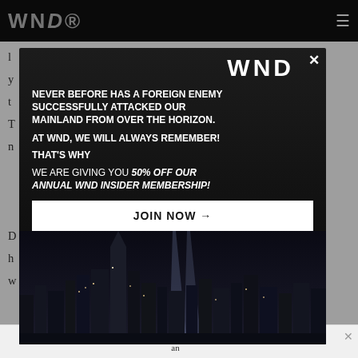WND
So, if you [text partially obscured], then t[ext partially obscured], forever. T[ext partially obscured] try right n[ext partially obscured]
[Figure (screenshot): WND promotional modal popup overlay on article page. Black background with NYC skyline and twin light beams. Contains WND logo, promotional text, and JOIN NOW button.]
NEVER BEFORE HAS A FOREIGN ENEMY SUCCESSFULLY ATTACKED OUR MAINLAND FROM OVER THE HORIZON.
AT WND, WE WILL ALWAYS REMEMBER!
THAT'S WHY
WE ARE GIVING YOU 50% OFF OUR ANNUAL WND INSIDER MEMBERSHIP!
JOIN NOW →
D[text partially obscured] but in h[ext partially obscured] t people w[ext partially obscured]
[text partially obscured] in our [text partially obscured] an